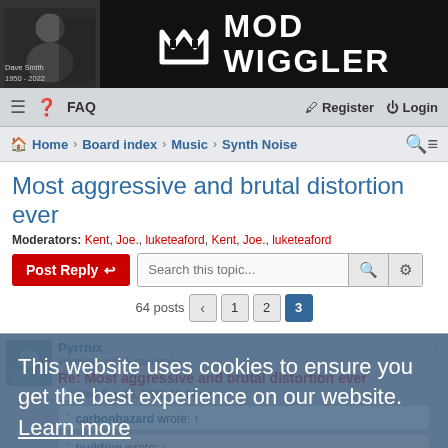[Figure (screenshot): Mod Wiggler forum website header banner with logo showing MOD WIGGLER text and icon, with a grayscale photo of Dave Smith on the left with caption '1950 - 2022']
≡  ? FAQ    Register  Login
Home › Board index › Music › Synth Noise
Most aggressive and brutal distortion ever
Moderators: Kent, Joe., luketeaford, Kent, Joe., luketeaford
Post Reply   Search this topic...
64 posts  ‹  1  2  3
Pyrrhix
Wiggling with Experience
Re: Most aggressive and brutal distortion ever
Wed Sep 16, 2020 10:14 pm
carbonhazard wrote: ↑
building wrote: ↑
This website uses cookies to ensure you get the best experience on our website. Learn more
Got it!